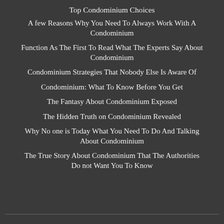Top Condominium Choices
A few Reasons Why You Need To Always Work With A Condominium
Function As The First To Read What The Experts Say About Condominium
Condominium Strategies That Nobody Else Is Aware Of
Condominium: What To Know Before You Get
The Fantasy About Condominium Exposed
The Hidden Truth on Condominium Revealed
Why No one is Today What You Need To Do And Talking About Condominium
The True Story About Condominium That The Authorities Do not Want You To Know